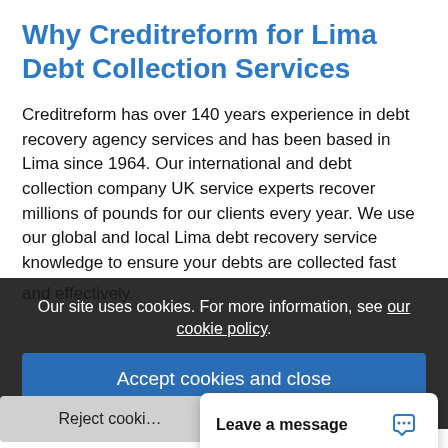Why Creditreform for Lima Debt Collection Services
Creditreform has over 140 years experience in debt recovery agency services and has been based in Lima since 1964. Our international and debt collection company UK service experts recover millions of pounds for our clients every year. We use our global and local Lima debt recovery service knowledge to ensure your debts are collected fast and effectively.
Our site uses cookies. For more information, see our cookie policy.
Accept cookies and close
Lima Debt Recovery…
Creditreform provides over 88 million international busines… million international
Reject cookies
Leave a message